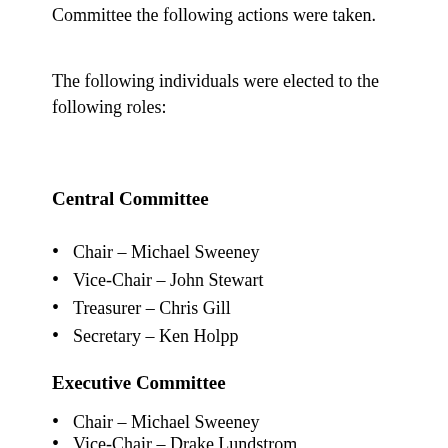Franklin County Libertarian Party of Ohio Central Committee the following actions were taken.
The following individuals were elected to the following roles:
Central Committee
Chair – Michael Sweeney
Vice-Chair – John Stewart
Treasurer – Chris Gill
Secretary – Ken Holpp
Executive Committee
Chair – Michael Sweeney
Vice-Chair – Drake Lundstrom
Treasurer – Pat Hoffman